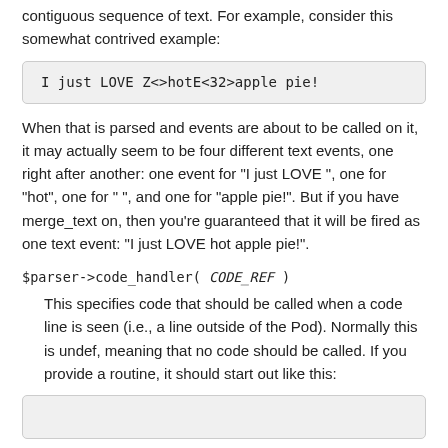contiguous sequence of text. For example, consider this somewhat contrived example:
I just LOVE Z<>hotE<32>apple pie!
When that is parsed and events are about to be called on it, it may actually seem to be four different text events, one right after another: one event for "I just LOVE ", one for "hot", one for " ", and one for "apple pie!". But if you have merge_text on, then you're guaranteed that it will be fired as one text event: "I just LOVE hot apple pie!".
$parser->code_handler( CODE_REF )
This specifies code that should be called when a code line is seen (i.e., a line outside of the Pod). Normally this is undef, meaning that no code should be called. If you provide a routine, it should start out like this:
(code box partial)